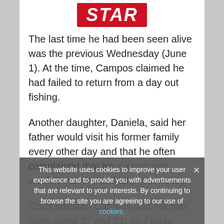[Figure (logo): Daily Star red italic logo badge]
The last time he had been seen alive was the previous Wednesday (June 1). At the time, Campos claimed he had failed to return from a day out fishing.
Another daughter, Daniela, said her father would visit his former family every other day and that he often complained that his current wife would beat him and take his money.
Cops arrested Campos and her two sons, aged 27 and 21, on Friday (June 10).
This website uses cookies to improve your user experience and to provide you with advertisements that are relevant to your interests. By continuing to browse the site you are agreeing to our use of cookies.